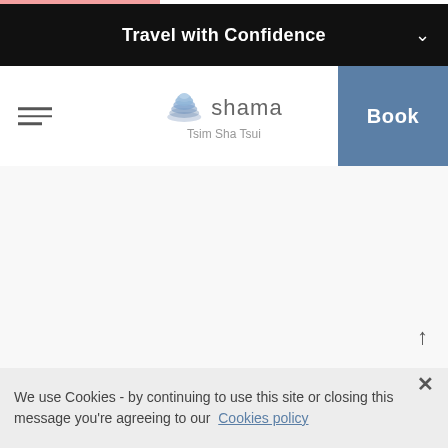Travel with Confidence
[Figure (logo): Shama Tsim Sha Tsui hotel logo with circular layered disc icon and text 'shama Tsim Sha Tsui']
Book
We use Cookies - by continuing to use this site or closing this message you're agreeing to our Cookies policy